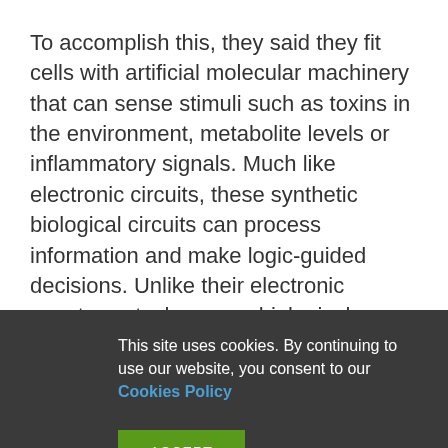To accomplish this, they said they fit cells with artificial molecular machinery that can sense stimuli such as toxins in the environment, metabolite levels or inflammatory signals. Much like electronic circuits, these synthetic biological circuits can process information and make logic-guided decisions. Unlike their electronic counterparts, however, biological circuits must be fabricated from the molecular components that cells can produce, and they must operate in the crowded and ever-changing
This site uses cookies. By continuing to use our website, you consent to our Cookies Policy
ACCEPT